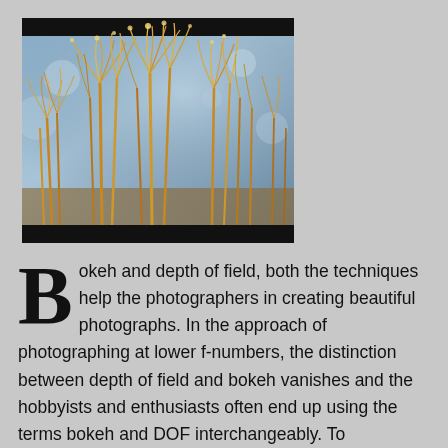[Figure (photo): A photograph of dried golden grass or reed plants with feathery tops against a blurred blue-grey background, framed by thick black bars at top and bottom.]
Bokeh and depth of field, both the techniques help the photographers in creating beautiful photographs. In the approach of photographing at lower f-numbers, the distinction between depth of field and bokeh vanishes and the hobbyists and enthusiasts often end up using the terms bokeh and DOF interchangeably. To photograph the aesthetics of the subject and the background, one should be clear about what DOF and bokeh stand for. To effectively use the two techniques,